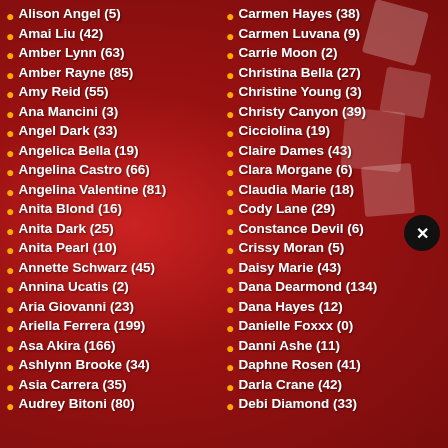Alison Angel (5)
Amai Liu (42)
Amber Lynn (63)
Amber Rayne (85)
Amy Reid (55)
Ana Mancini (3)
Angel Dark (33)
Angelica Bella (19)
Angelina Castro (66)
Angelina Valentine (81)
Anita Blond (16)
Anita Dark (25)
Anita Pearl (10)
Annette Schwarz (45)
Annina Ucatis (2)
Aria Giovanni (23)
Ariella Ferrera (199)
Asa Akira (166)
Ashlynn Brooke (34)
Asia Carrera (35)
Audrey Bitoni (80)
Carmen Hayes (38)
Carmen Luvana (9)
Carrie Moon (2)
Christina Bella (27)
Christine Young (3)
Christy Canyon (39)
Cicciolina (19)
Claire Dames (43)
Clara Morgane (6)
Claudia Marie (18)
Cody Lane (29)
Constance Devil (6)
Crissy Moran (5)
Daisy Marie (43)
Dana Dearmond (134)
Dana Hayes (12)
Danielle Foxxx (0)
Danni Ashe (11)
Daphne Rosen (41)
Darla Crane (42)
Debi Diamond (33)